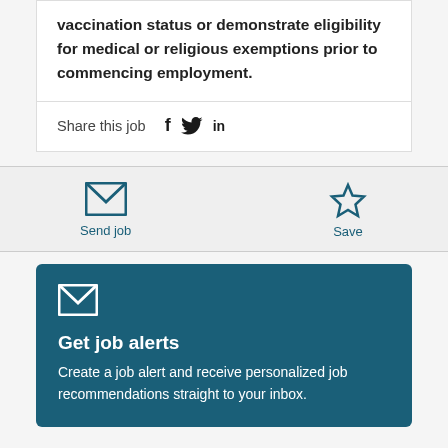vaccination status or demonstrate eligibility for medical or religious exemptions prior to commencing employment.
Share this job
Send job
Save
[Figure (illustration): Envelope icon for email/send job]
Get job alerts
Create a job alert and receive personalized job recommendations straight to your inbox.